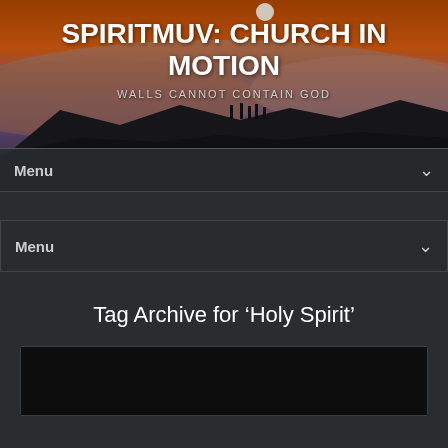[Figure (photo): Hero banner image of a sunrise/sunset over clouds and mountains with orange and purple tones]
SPIRITMUV: CHURCH IN MOTION
WALLS CANNOT CONTAIN GOD
Menu
Menu
Tag Archive for ‘Holy Spirit’
[Figure (photo): Dark thumbnail image placeholder at the bottom of the page]